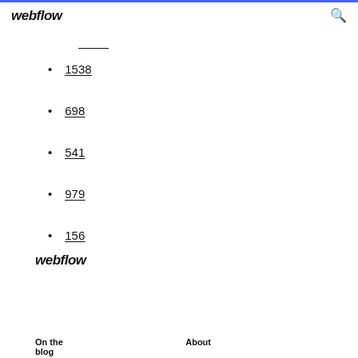webflow
1538
698
541
979
156
webflow
On the blog   About